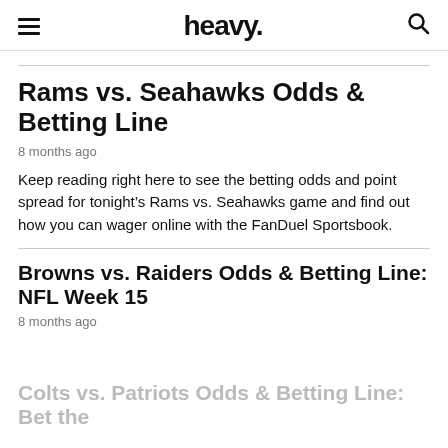heavy.
Rams vs. Seahawks Odds & Betting Line
8 months ago
Keep reading right here to see the betting odds and point spread for tonight’s Rams vs. Seahawks game and find out how you can wager online with the FanDuel Sportsbook.
Browns vs. Raiders Odds & Betting Line: NFL Week 15
8 months ago
Colts vs. Patriots Odds & Betting Line: Bet the